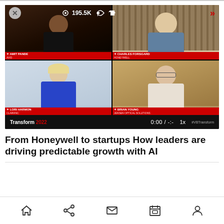[Figure (screenshot): Video conference screenshot showing 4 participants in a 2x2 grid: top-left Amit Pande (Avid), top-right Charles Forsgard (Honeywell), bottom-left Lori Harmon (Clari/Inc), bottom-right Brian Young (Jensen Optical). Video shows 195.5K views, 0:00 / -:- timecode, 1x speed. Transform 2022 logo visible.]
From Honeywell to startups How leaders are driving predictable growth with AI